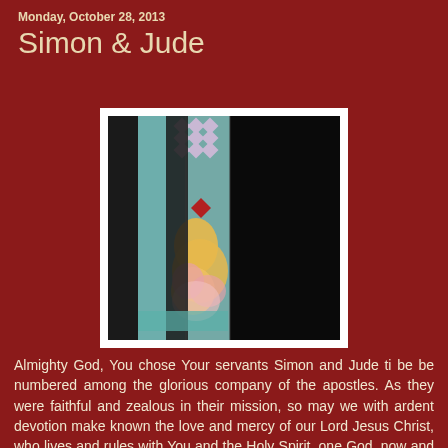Monday, October 28, 2013
Simon & Jude
[Figure (photo): Photograph of a stained glass church window depicting decorative floral/botanical motifs in yellow, pink, and green colors, with a dark silhouette figure visible on the left side of the image against a black background.]
Almighty God, You chose Your servants Simon and Jude ti be be numbered among the glorious company of the apostles. As they were faithful and zealous in their mission, so may we with ardent devotion make known the love and mercy of our Lord Jesus Christ, who lives and rules with You and the Holy Spirit, one God, now and forever.